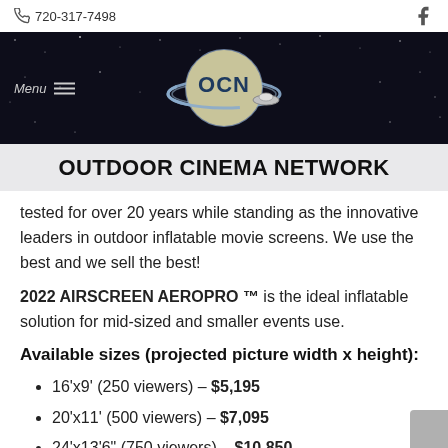720-317-7498
[Figure (logo): Outdoor Cinema Network (OCN) logo — planet with rings and a UFO silhouette, 'OCN' lettered on globe, dark starfield background with Menu navigation button]
OUTDOOR CINEMA NETWORK
tested for over 20 years while standing as the innovative leaders in outdoor inflatable movie screens. We use the best and we sell the best!
2022 AIRSCREEN AEROPRO ™ is the ideal inflatable solution for mid-sized and smaller events use.
Available sizes (projected picture width x height):
16'x9' (250 viewers) – $5,195
20'x11' (500 viewers) – $7,095
24'x13'6" (750 viewers) – $10,850